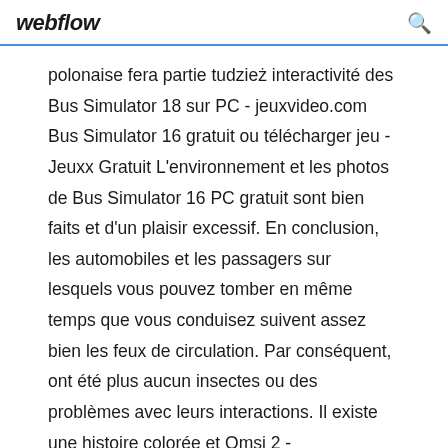webflow
polonaise fera partie tudzież interactivité des Bus Simulator 18 sur PC - jeuxvideo.com Bus Simulator 16 gratuit ou télécharger jeu - Jeuxx Gratuit L'environnement et les photos de Bus Simulator 16 PC gratuit sont bien faits et d'un plaisir excessif. En conclusion, les automobiles et les passagers sur lesquels vous pouvez tomber en même temps que vous conduisez suivent assez bien les feux de circulation. Par conséquent, ont été plus aucun insectes ou des problèmes avec leurs interactions. Il existe une histoire colorée et Omsi 2 - CrackYourGames.com - Jeux & Logiciels gratuit - V3